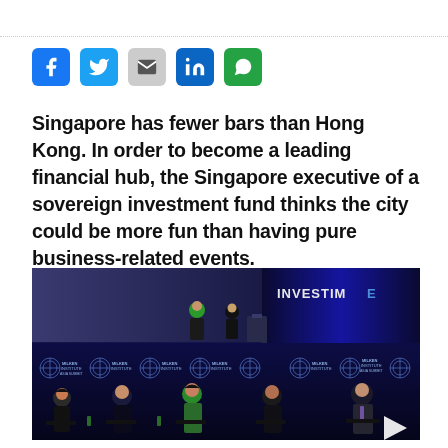[Figure (other): Row of five social media sharing icons: Facebook (blue), Twitter (blue), Gmail/Mail (grey), LinkedIn (blue), WhatsApp (green)]
Singapore has fewer bars than Hong Kong. In order to become a leading financial hub, the Singapore executive of a sovereign investment fund thinks the city could be more fun than having pure business-related events.
[Figure (photo): Photo from the Milken Institute Asia Summit showing a panel discussion on stage. Upper portion shows a screen with presenters at a podium. Lower portion shows five panelists seated in black chairs against a dark blue backdrop with repeated Milken Institute Asia Summit logos.]